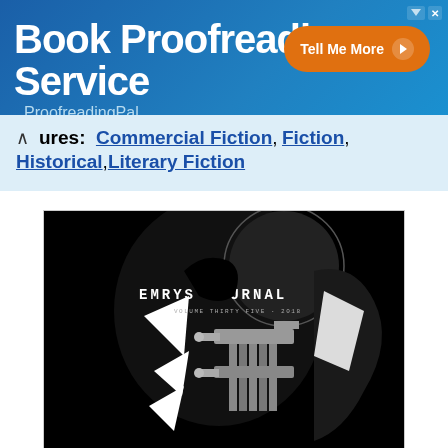[Figure (other): Book Proofreading Service advertisement banner with blue background, orange 'Tell Me More' button, and ProofreadingPal branding]
ures: Commercial Fiction, Fiction, Historical, Literary Fiction
[Figure (photo): Cover of Emrys Journal, Volume Thirty Five, 2018, featuring black and white graphic art of an abstract face/head silhouette]